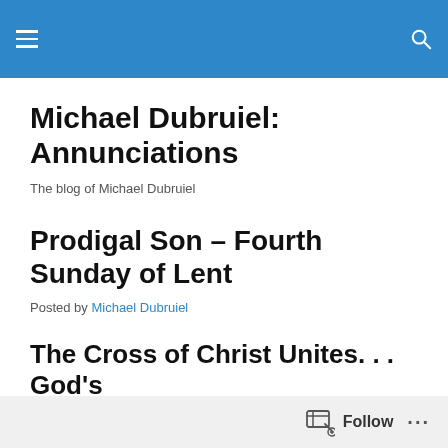Michael Dubruiel: Annunciations — menu and search bar
Michael Dubruiel: Annunciations
The blog of Michael Dubruiel
Prodigal Son – Fourth Sunday of Lent
Posted by Michael Dubruiel
The Cross of Christ Unites. . . God's
Follow ···